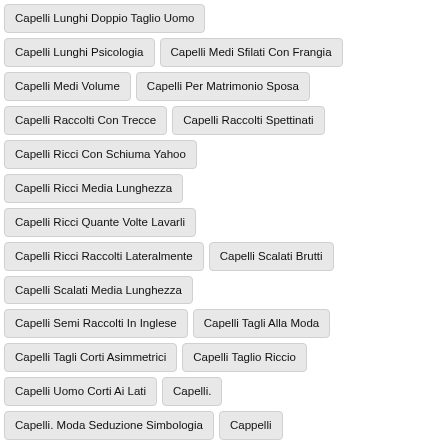Capelli Lunghi Doppio Taglio Uomo
Capelli Lunghi Psicologia
Capelli Medi Sfilati Con Frangia
Capelli Medi Volume
Capelli Per Matrimonio Sposa
Capelli Raccolti Con Trecce
Capelli Raccolti Spettinati
Capelli Ricci Con Schiuma Yahoo
Capelli Ricci Media Lunghezza
Capelli Ricci Quante Volte Lavarli
Capelli Ricci Raccolti Lateralmente
Capelli Scalati Brutti
Capelli Scalati Media Lunghezza
Capelli Semi Raccolti In Inglese
Capelli Tagli Alla Moda
Capelli Tagli Corti Asimmetrici
Capelli Taglio Riccio
Capelli Uomo Corti Ai Lati
Capelli.
Capelli. Moda Seduzione Simbologia
Cappelli